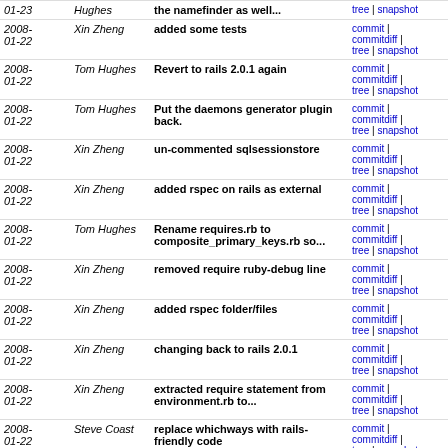| Date | Author | Message | Links |
| --- | --- | --- | --- |
| 2008-01-23 | Hughes | the namefinder as well... | commit | commitdiff | tree | snapshot |
| 2008-01-22 | Xin Zheng | added some tests | commit | commitdiff | tree | snapshot |
| 2008-01-22 | Tom Hughes | Revert to rails 2.0.1 again | commit | commitdiff | tree | snapshot |
| 2008-01-22 | Tom Hughes | Put the daemons generator plugin back. | commit | commitdiff | tree | snapshot |
| 2008-01-22 | Xin Zheng | un-commented sqlsessionstore | commit | commitdiff | tree | snapshot |
| 2008-01-22 | Xin Zheng | added rspec on rails as external | commit | commitdiff | tree | snapshot |
| 2008-01-22 | Tom Hughes | Rename requires.rb to composite_primary_keys.rb so... | commit | commitdiff | tree | snapshot |
| 2008-01-22 | Xin Zheng | removed require ruby-debug line | commit | commitdiff | tree | snapshot |
| 2008-01-22 | Xin Zheng | added rspec folder/files | commit | commitdiff | tree | snapshot |
| 2008-01-22 | Xin Zheng | changing back to rails 2.0.1 | commit | commitdiff | tree | snapshot |
| 2008-01-22 | Xin Zheng | extracted require statement from environment.rb to... | commit | commitdiff | tree | snapshot |
| 2008-01-22 | Steve Coast | replace whichways with rails-friendly code | commit | commitdiff | tree | snapshot |
| 2008-01-22 | Xin Zheng | added RSpec and RSpec on Rails | commit | commitdiff | tree | snapshot |
next